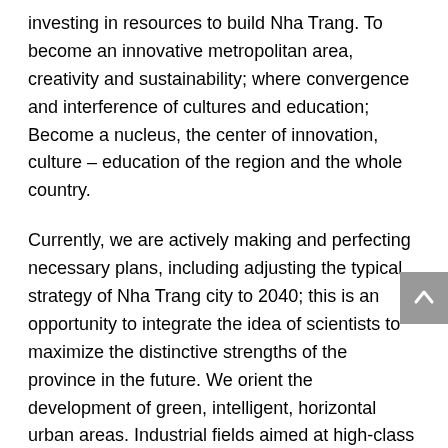investing in resources to build Nha Trang. To become an innovative metropolitan area, creativity and sustainability; where convergence and interference of cultures and education; Become a nucleus, the center of innovation, culture – education of the region and the whole country.
Currently, we are actively making and perfecting necessary plans, including adjusting the typical strategy of Nha Trang city to 2040; this is an opportunity to integrate the idea of scientists to maximize the distinctive strengths of the province in the future. We orient the development of green, intelligent, horizontal urban areas. Industrial fields aimed at high-class production, focusing on energy, shipbuilding, food processing, and drinks; developing aquaculture towards high-tech sea farming, responsibility, and sustainability; Diversifying tourism